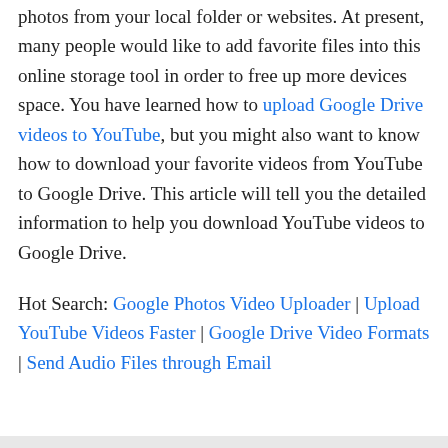photos from your local folder or websites. At present, many people would like to add favorite files into this online storage tool in order to free up more devices space. You have learned how to upload Google Drive videos to YouTube, but you might also want to know how to download your favorite videos from YouTube to Google Drive. This article will tell you the detailed information to help you download YouTube videos to Google Drive.
Hot Search: Google Photos Video Uploader | Upload YouTube Videos Faster | Google Drive Video Formats | Send Audio Files through Email